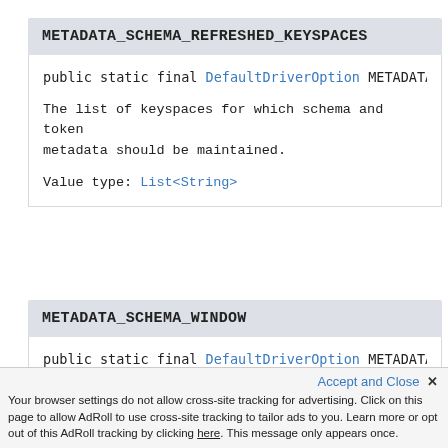METADATA_SCHEMA_REFRESHED_KEYSPACES
public static final DefaultDriverOption METADATA_
The list of keyspaces for which schema and token metadata should be maintained.
Value type: List<String>
METADATA_SCHEMA_WINDOW
public static final DefaultDriverOption METADATA_
How long the driver waits to apply a refresh.
Value-type: Duration
Accept and Close ✕ Your browser settings do not allow cross-site tracking for advertising. Click on this page to allow AdRoll to use cross-site tracking to tailor ads to you. Learn more or opt out of this AdRoll tracking by clicking here. This message only appears once.